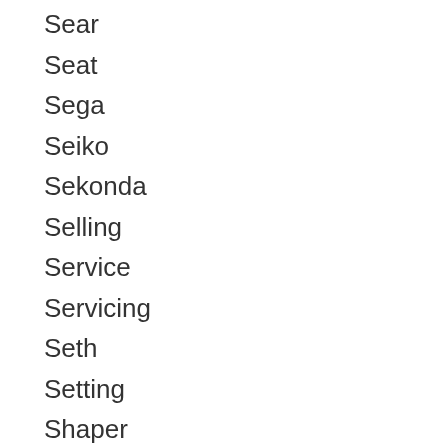Sear
Seat
Sega
Seiko
Sekonda
Selling
Service
Servicing
Seth
Setting
Shaper
Shocked
Silver
Simply
Skagen
Slim